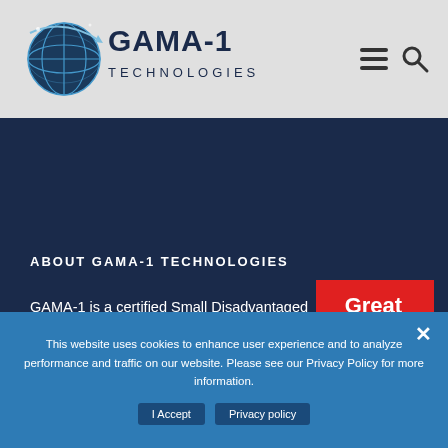[Figure (logo): GAMA-1 Technologies logo with globe icon and company name in dark blue text]
[Figure (other): Hamburger menu icon and search icon in top right navigation]
ABOUT GAMA-1 TECHNOLOGIES
GAMA-1 is a certified Small Disadvantaged Business provider to the Federal Government. We deliver innovative and cost-effective
[Figure (logo): Great Place To Work red badge logo with white text]
This website uses cookies to enhance user experience and to analyze performance and traffic on our website. Please see our Privacy Policy for more information.
I Accept   Privacy policy